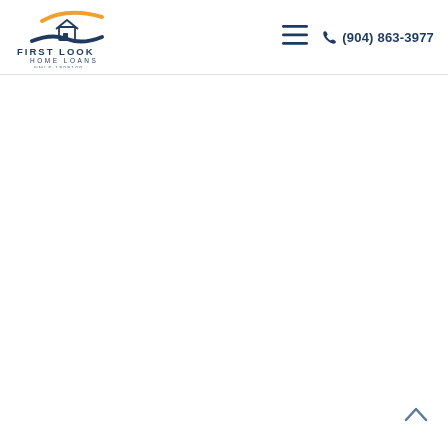[Figure (logo): First Look Home Loans logo with house icon, orange swoosh curve above and dark blue wave below, company name 'FIRST LOOK HOME LOANS NMLS 1898199' in dark navy text]
[Figure (other): Hamburger menu icon (three horizontal lines) in dark navy]
(904) 863-3977
[Figure (other): Back to top chevron arrow pointing upward, bottom right corner]